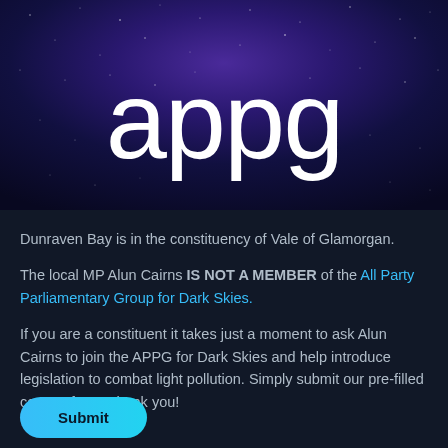[Figure (photo): Night sky with stars and purple/blue tones with large white 'appg' text overlaid]
Dunraven Bay is in the constituency of Vale of Glamorgan.
The local MP Alun Cairns IS NOT A MEMBER of the All Party Parliamentary Group for Dark Skies.
If you are a constituent it takes just a moment to ask Alun Cairns to join the APPG for Dark Skies and help introduce legislation to combat light pollution. Simply submit our pre-filled contact form. Thank you!